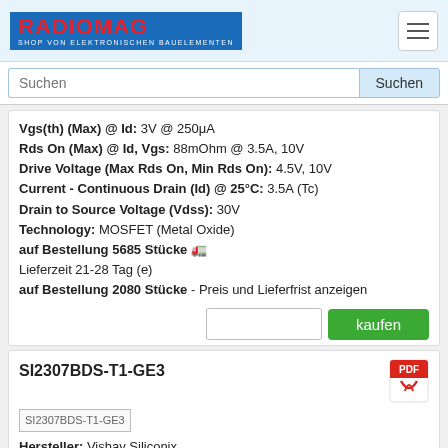[Figure (logo): Radiomag logo - shop von elektronischen bauelementen]
Suchen [search input] Suchen [button]
Vgs(th) (Max) @ Id: 3V @ 250μA
Rds On (Max) @ Id, Vgs: 88mOhm @ 3.5A, 10V
Drive Voltage (Max Rds On, Min Rds On): 4.5V, 10V
Current - Continuous Drain (Id) @ 25°C: 3.5A (Tc)
Drain to Source Voltage (Vdss): 30V
Technology: MOSFET (Metal Oxide)
auf Bestellung 5685 Stücke 🚚
Lieferzeit 21-28 Tag (e)
auf Bestellung 2080 Stücke - Preis und Lieferfrist anzeigen
kaufen [buy button]
SI2307BDS-T1-GE3
[Figure (photo): SI2307BDS-T1-GE3 product image placeholder]
Hersteller: Vishay Siliconix
Description: MOSFET P-CH 30V 2.5A SOT23-3
Rds On (Max) @ Id, Vgs: 78mOhm @ 3.2A, 10V
Drive Voltage (Max Rds On, Min Rds On): 10V